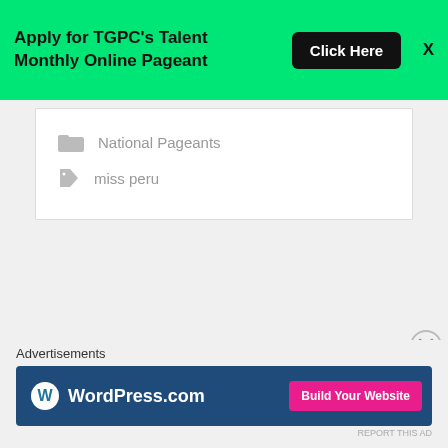[Figure (infographic): Green banner advertisement: 'Apply for TGPC's Talent Monthly Online Pageant' with a black 'Click Here' button and an X close button]
National Pageants
miss peru
[Figure (screenshot): Close circle X button]
Advertisements
[Figure (screenshot): WordPress.com advertisement banner with 'Build Your Website' pink button]